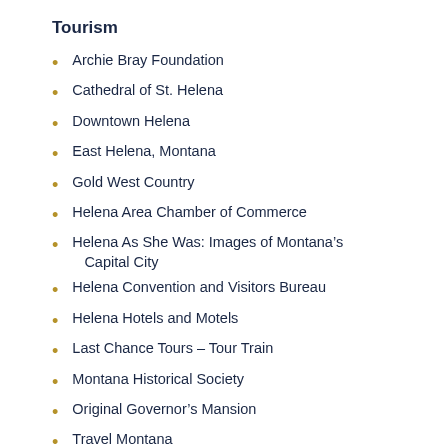Tourism
Archie Bray Foundation
Cathedral of St. Helena
Downtown Helena
East Helena, Montana
Gold West Country
Helena Area Chamber of Commerce
Helena As She Was: Images of Montana’s Capital City
Helena Convention and Visitors Bureau
Helena Hotels and Motels
Last Chance Tours – Tour Train
Montana Historical Society
Original Governor’s Mansion
Travel Montana
Virtual Montana: Vacation Travel Planning
Information